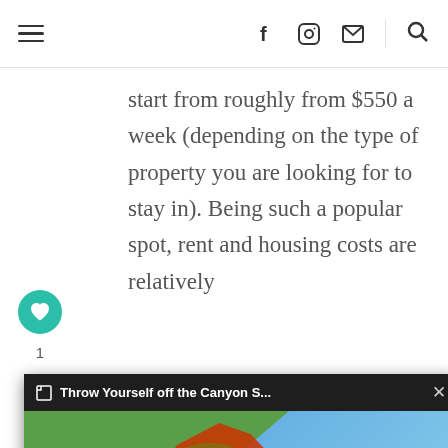≡  f  [instagram]  [mail]  [search]
start from roughly from $550 a week (depending on the type of property you are looking for to stay in). Being such a popular spot, rent and housing costs are relatively
also good
fields
g with a
ism-based
[Figure (screenshot): A popup notification bar showing 'Throw Yourself off the Canyon S...' with an X close button, overlaying a photo of a person taking a selfie on a rocky mountain cliff with blue sky in the background. The person is wearing a red jacket.]